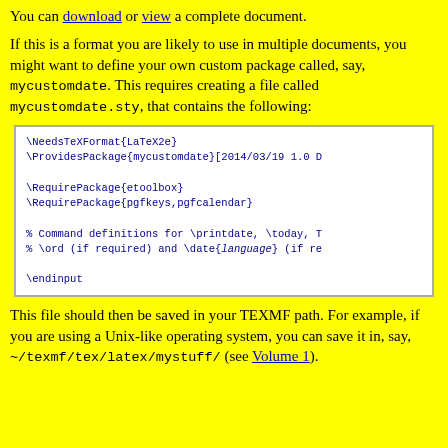You can download or view a complete document.
If this is a format you are likely to use in multiple documents, you might want to define your own custom package called, say, mycustomdate. This requires creating a file called mycustomdate.sty, that contains the following:
\NeedsTeXFormat{LaTeX2e}
\ProvidesPackage{mycustomdate}[2014/03/19 1.0 

\RequirePackage{etoolbox}
\RequirePackage{pgfkeys,pgfcalendar}

% Command definitions for \printdate, \today,
% \ord (if required) and \date{language} (if re

\endinput
This file should then be saved in your TEXMF path. For example, if you are using a Unix-like operating system, you can save it in, say, ~/texmf/tex/latex/mystuff/ (see Volume 1).